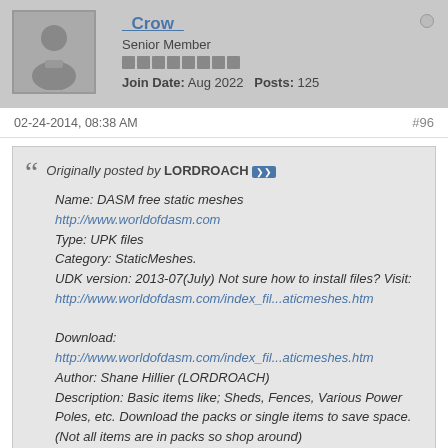_Crow_ Senior Member Join Date: Aug 2022 Posts: 125
02-24-2014, 08:38 AM #96
Originally posted by LORDROACH
Name: DASM free static meshes
http://www.worldofdasm.com
Type: UPK files
Category: StaticMeshes.
UDK version: 2013-07(July) Not sure how to install files? Visit:
http://www.worldofdasm.com/index_fil...aticmeshes.htm

Download:
http://www.worldofdasm.com/index_fil...aticmeshes.htm
Author: Shane Hillier (LORDROACH)
Description: Basic items like; Sheds, Fences, Various Power Poles, etc. Download the packs or single items to save space. (Not all items are in packs so shop around)
Free to use or modify.
Just leave a link in your project to my site, thanks.
Your meshes along with Gaz's are the best I've seen so far. I shall be following you to check if you ever make more. :3